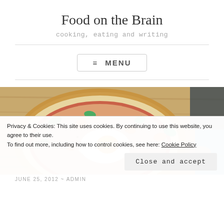Food on the Brain
cooking, eating and writing
≡ MENU
[Figure (photo): A pizza topped with a fried egg, tomato sauce, cheese, orange peppers, and green herbs, resting on a wooden board. A person's hands are visible in the background.]
Privacy & Cookies: This site uses cookies. By continuing to use this website, you agree to their use.
To find out more, including how to control cookies, see here: Cookie Policy
Close and accept
JUNE 25, 2012 ~ ADMIN